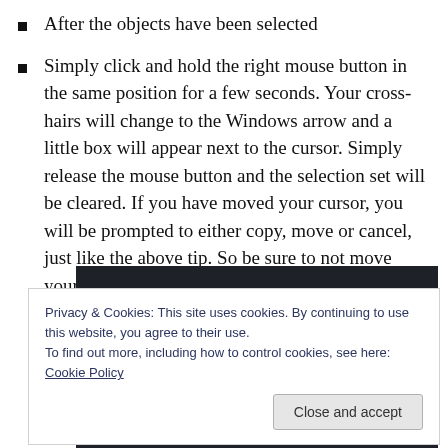After the objects have been selected
Simply click and hold the right mouse button in the same position for a few seconds. Your cross-hairs will change to the Windows arrow and a little box will appear next to the cursor. Simply release the mouse button and the selection set will be cleared. If you have moved your cursor, you will be prompted to either copy, move or cancel, just like the above tip. So be sure to not move your mouse.
[Figure (screenshot): Dark-themed software screenshot showing a CAD or drawing environment with yellow lines and shapes on a dark background, partially obscured by a cookie consent banner.]
Privacy & Cookies: This site uses cookies. By continuing to use this website, you agree to their use.
To find out more, including how to control cookies, see here: Cookie Policy
Close and accept